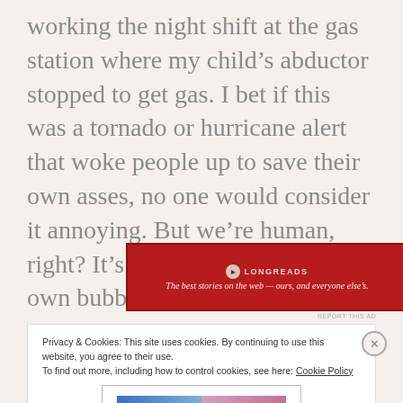working the night shift at the gas station where my child's abductor stopped to get gas. I bet if this was a tornado or hurricane alert that woke people up to save their own asses, no one would consider it annoying. But we're human, right? It's hard to look beyond our own bubble.
[Figure (other): Longreads advertisement banner in dark red with logo and tagline: The best stories on the web — ours, and everyone else's.]
REPORT THIS AD
Privacy & Cookies: This site uses cookies. By continuing to use this website, you agree to their use.
To find out more, including how to control cookies, see here: Cookie Policy
Close and accept